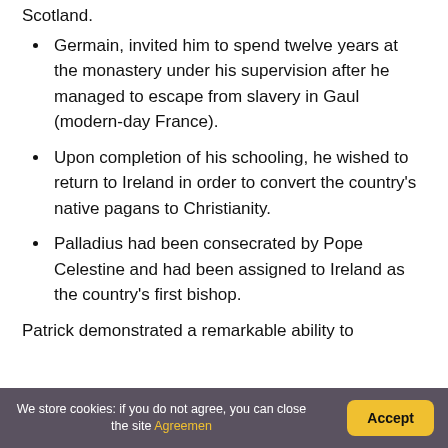Scotland.
Germain, invited him to spend twelve years at the monastery under his supervision after he managed to escape from slavery in Gaul (modern-day France).
Upon completion of his schooling, he wished to return to Ireland in order to convert the country's native pagans to Christianity.
Palladius had been consecrated by Pope Celestine and had been assigned to Ireland as the country's first bishop.
Patrick demonstrated a remarkable ability to
We store cookies: if you do not agree, you can close the site Agreemen
Accept